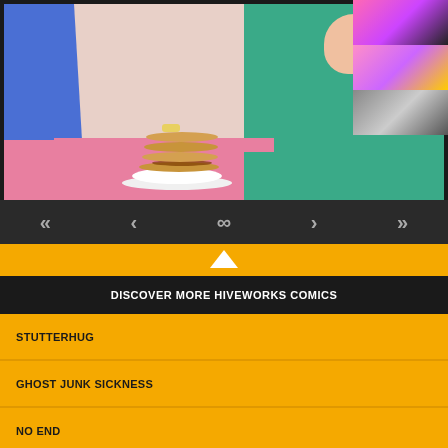[Figure (illustration): Comic panel showing characters at a diner with a stack of pancakes. One character in blue shirt on left, another in green tank top on right with raised fists. Pink table with pancake stack in center.]
[Figure (screenshot): Navigation bar with double-left arrow, single-left arrow, infinity symbol, single-right arrow, double-right arrow buttons on dark background]
[Figure (screenshot): Yellow section with upward triangle indicator]
DISCOVER MORE HIVEWORKS COMICS
STUTTERHUG
GHOST JUNK SICKNESS
NO END